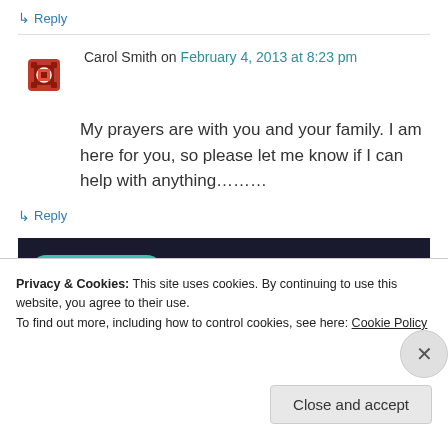↳ Reply
Carol Smith on February 4, 2013 at 8:23 pm
My prayers are with you and your family. I am here for you, so please let me know if I can help with anything………
↳ Reply
[Figure (screenshot): Dark advertisement banner with teal 'Learn More' button]
Privacy & Cookies: This site uses cookies. By continuing to use this website, you agree to their use. To find out more, including how to control cookies, see here: Cookie Policy